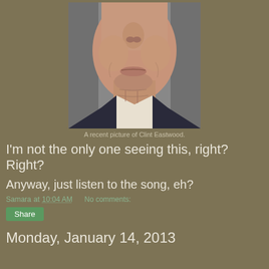[Figure (photo): Close-up photo of an elderly man (Clint Eastwood) showing his face from nose down to collar, wearing a white shirt and dark jacket]
A recent picture of Clint Eastwood.
I'm not the only one seeing this, right? Right?
Anyway, just listen to the song, eh?
Samara at 10:04 AM    No comments:
Share
Monday, January 14, 2013